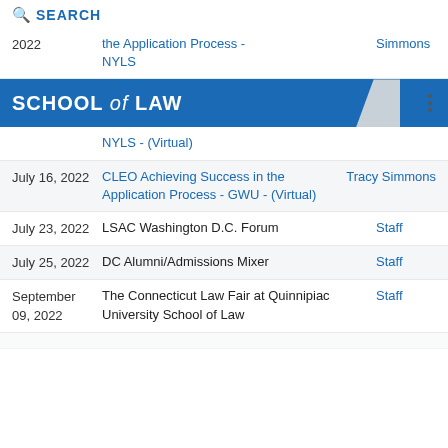SEARCH
| Date | Event | Person |
| --- | --- | --- |
| 2022 | the Application Process - NYLS | Simmons |
|  | NYLS - (Virtual) |  |
| July 16, 2022 | CLEO Achieving Success in the Application Process - GWU - (Virtual) | Tracy Simmons |
| July 23, 2022 | LSAC Washington D.C. Forum | Staff |
| July 25, 2022 | DC Alumni/Admissions Mixer | Staff |
| September 09, 2022 | The Connecticut Law Fair at Quinnipiac University School of Law | Staff |